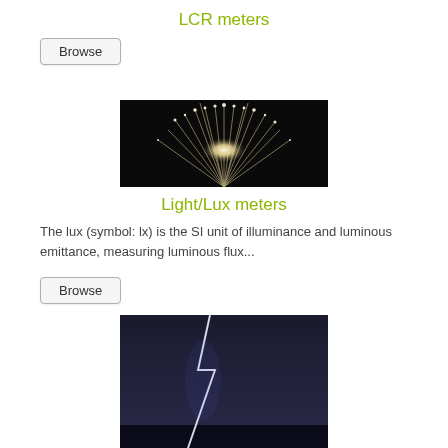LCR meters
Browse
[Figure (photo): Fiber optic light strands glowing bright white against a dark background, resembling a sparkling fountain of light]
Light/Lux meters
The lux (symbol: lx) is the SI unit of illuminance and luminous emittance, measuring luminous flux...
Browse
[Figure (photo): Partial image of a lightning storm scene visible at the bottom of the page]